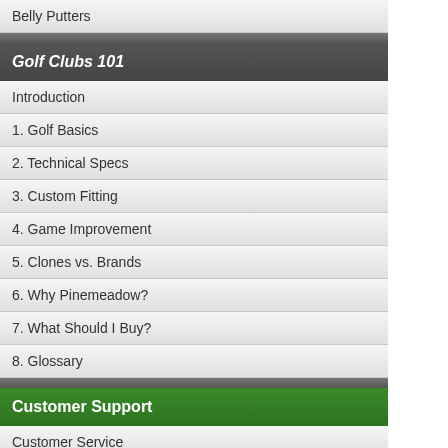Belly Putters
Golf Clubs 101
Introduction
1. Golf Basics
2. Technical Specs
3. Custom Fitting
4. Game Improvement
5. Clones vs. Brands
6. Why Pinemeadow?
7. What Should I Buy?
8. Glossary
Customer Support
Customer Service
Send a Question
Get Answers
Guarantee